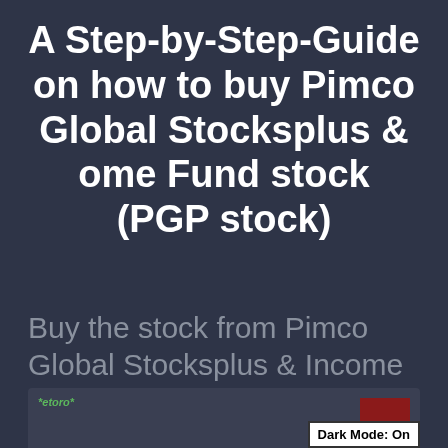A Step-by-Step-Guide on how to buy Pimco Global Stocksplus & ome Fund stock (PGP stock)
Buy the stock from Pimco Global Stocksplus & Income Fund in three easy steps!
[Figure (screenshot): Partial screenshot of eToro trading platform in dark mode, showing a chart with a red bar and a 'Dark Mode: On' label overlay]